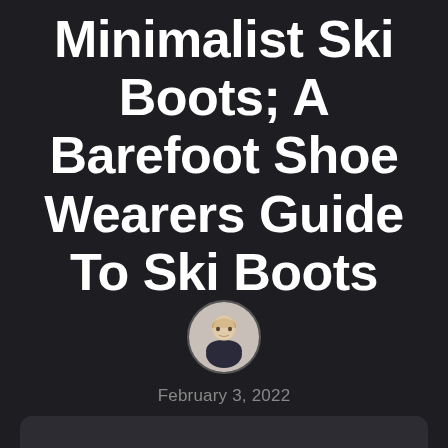Minimalist Ski Boots; A Barefoot Shoe Wearers Guide To Ski Boots
[Figure (photo): Circular avatar photo of a young blond man smiling, wearing a dark shirt, against a light background]
February 3, 2022